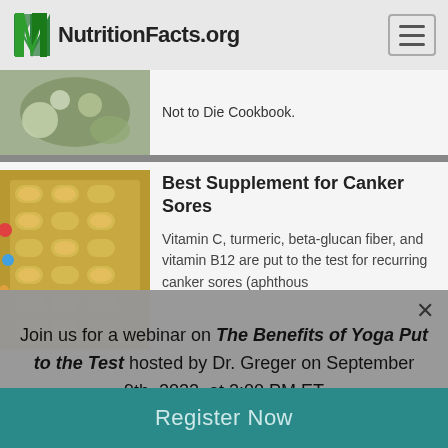NutritionFacts.org
Not to Die Cookbook.
Best Supplement for Canker Sores
Vitamin C, turmeric, beta-glucan fiber, and vitamin B12 are put to the test for recurring canker sores (aphthous
Join us for a webinar on The Benefits of Yoga Put to the Test hosted by Dr. Greger on September 9th, 2022, at 2:00 PM ET
Register Now